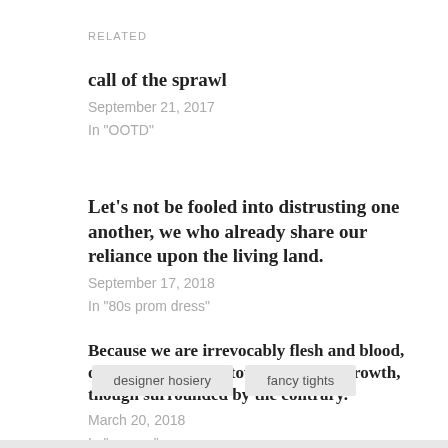RELATED
call of the sprawl
September 21, 2017
In "OOTD"
Let’s not be fooled into distrusting one another, we who already share our reliance upon the living land.
September 17, 2018
In "80s prom dress"
Because we are irrevocably flesh and blood, our contents orient toward life and growth, though surrounded by the contrary.
March 20, 2018
In "agency"
designer hosiery
fancy tights